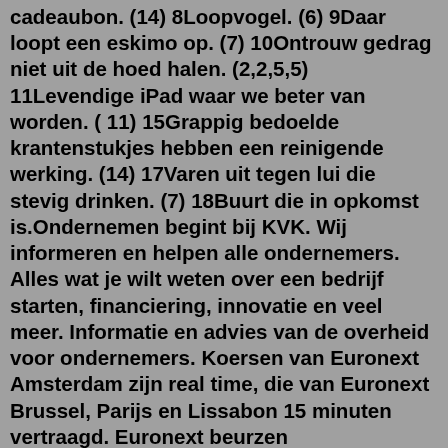cadeaubon. (14) 8Loopvogel. (6) 9Daar loopt een eskimo op. (7) 10Ontrouw gedrag niet uit de hoed halen. (2,2,5,5) 11Levendige iPad waar we beter van worden. ( 11) 15Grappig bedoelde krantenstukjes hebben een reinigende werking. (14) 17Varen uit tegen lui die stevig drinken. (7) 18Buurt die in opkomst is.Ondernemen begint bij KVK. Wij informeren en helpen alle ondernemers. Alles wat je wilt weten over een bedrijf starten, financiering, innovatie en veel meer. Informatie en advies van de overheid voor ondernemers. Koersen van Euronext Amsterdam zijn real time, die van Euronext Brussel, Parijs en Lissabon 15 minuten vertraagd. Euronext beurzen openingstijden: 9.00u t/m 17.35u (NL tijd).We hebben 8 cryptogrammen gevonden. 3 letters (1 x) PIL - Dik boek waar we beter van worden. 4 letters (1 x) EELT - Dik geworden door arbeid. 6 letters (2 x) NEPPIL - Dik kunstboek waar we niet beter van worden. ZETPIL - Dik schaakboek waar we beter van worden. 7 letters (1 x)Algemene regel: hoe beter je je los kunt maken van de letters zelf en kunt